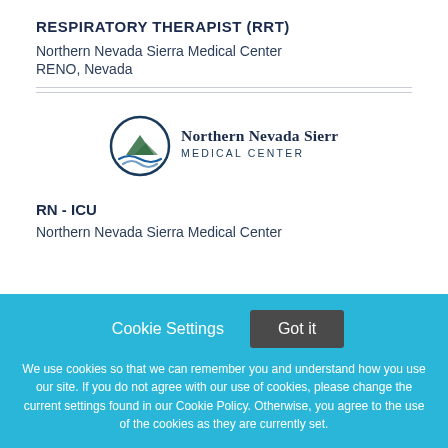RESPIRATORY THERAPIST (RRT)
Northern Nevada Sierra Medical Center
RENO, Nevada
[Figure (logo): Northern Nevada Sierra Medical Center logo with circular mountain/wave graphic and text]
RN - ICU
Northern Nevada Sierra Medical Center
Cookie Settings  Got it
We use cookies so that we can remember you and understand how you use our site. If you do not agree with our use of cookies, please change the current settings found in our Cookie Policy. Otherwise, you agree to the use of the cookies as they are currently set.